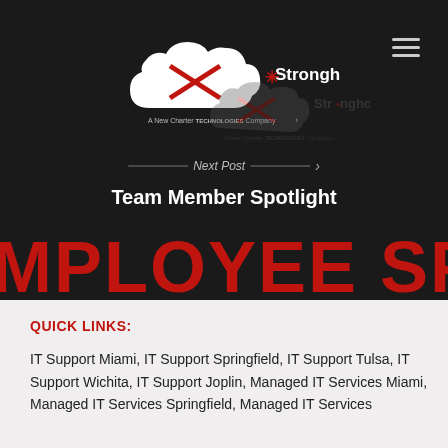[Figure (logo): Stronghold Data logo with cloud shape on dark background - A New Charter Technologies Company]
Next Post
Team Member Spotlight
[Figure (other): Large red text banner: EMPLOYEE SPOTLIGHT]
QUICK LINKS:
IT Support Miami, IT Support Springfield, IT Support Tulsa, IT Support Wichita, IT Support Joplin, Managed IT Services Miami, Managed IT Services Springfield, Managed IT Services